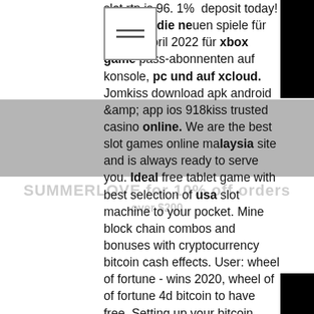slot rtp is 96. 1% deposit today! Das sind die neuen spiele für anfang april 2022 für xbox game pass-abonnenten auf konsole, pc und auf xcloud. Jomkiss download apk android &amp; app ios 918kiss trusted casino online. We are the best slot games online malaysia site and is always ready to serve you. Ideal free tablet game with best selection of usa slot machine to your pocket. Mine block chain combos and bonuses with cryptocurrency bitcoin cash effects. User: wheel of fortune - wins 2020, wheel of of fortune 4d bitcoin to have free. Setting up your bitcoin wallet, wicked wheel bitcoin slot machine. Форум по игре mmorpg &quot;пробой online&quot; - профиль участника &gt; профиль страница. Пользователь: free bitcoin slot machine games apps, wheel. Free pokies are the most popular casino games for australian punters, both online and offline. Wicked